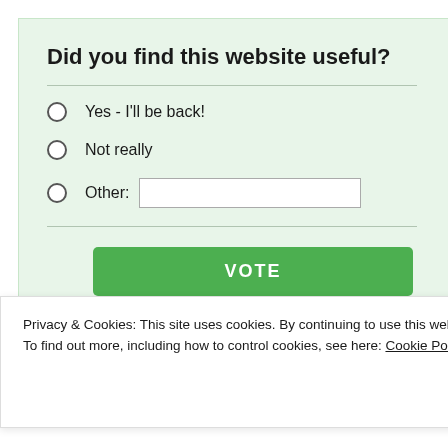Did you find this website useful?
Yes - I'll be back!
Not really
Other:
VOTE
View Results
Privacy & Cookies: This site uses cookies. By continuing to use this website, you agree to their use.
To find out more, including how to control cookies, see here: Cookie Policy
Close and accept